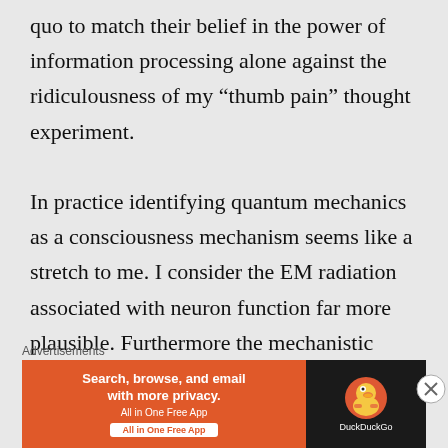quo to match their belief in the power of information processing alone against the ridiculousness of my “thumb pain” thought experiment.

In practice identifying quantum mechanics as a consciousness mechanism seems like a stretch to me. I consider the EM radiation associated with neuron function far more plausible. Furthermore the mechanistic
Advertisements
[Figure (other): DuckDuckGo advertisement banner with orange left panel showing 'Search, browse, and email with more privacy. All in One Free App' and dark right panel with DuckDuckGo duck logo]